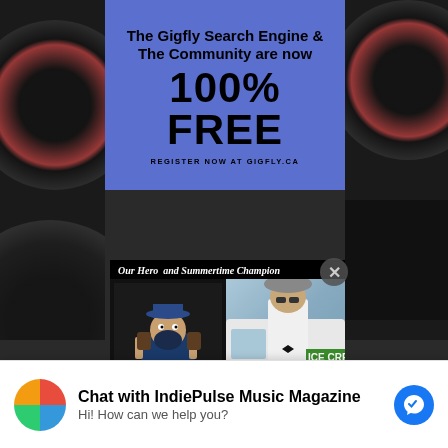[Figure (infographic): Gigfly.ca advertisement on blue background: 'The Gigfly Search Engine & The Community are now 100% FREE. REGISTER NOW AT GIGFLY.CA']
[Figure (infographic): Ice Cream Ian advertisement on black background with mascot logo and photo of bearded man in hat. Text: 'Our Hero and Summertime Champion' and 'Your Friendly Neighborhood Ice Cream Man']
[Figure (screenshot): Facebook Messenger chat widget: 'Chat with IndiePulse Music Magazine' with avatar and message 'Hi! How can we help you?']